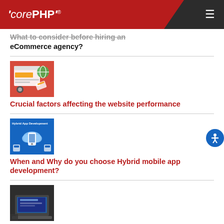'corePHP'®
What to consider before hiring an eCommerce agency?
[Figure (illustration): Thumbnail image for website/eCommerce article showing browser window with shopping cart graphics on red background]
Crucial factors affecting the website performance
[Figure (illustration): Thumbnail image for hybrid app development article showing smartphone and cloud icons on blue background with text 'Hybrid App Development']
When and Why do you choose Hybrid mobile app development?
[Figure (photo): Photo of person typing on laptop computer in low light]
Why is good graphic design essential for